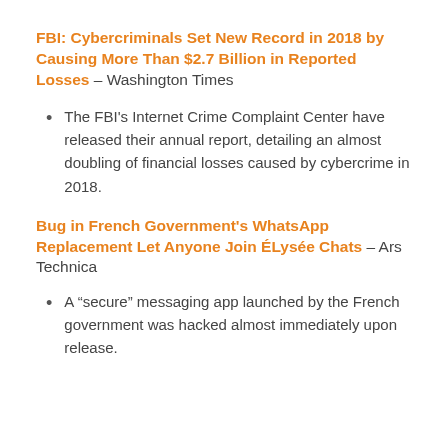FBI: Cybercriminals Set New Record in 2018 by Causing More Than $2.7 Billion in Reported Losses – Washington Times
The FBI's Internet Crime Complaint Center have released their annual report, detailing an almost doubling of financial losses caused by cybercrime in 2018.
Bug in French Government's WhatsApp Replacement Let Anyone Join ÉLysée Chats – Ars Technica
A “secure” messaging app launched by the French government was hacked almost immediately upon release.